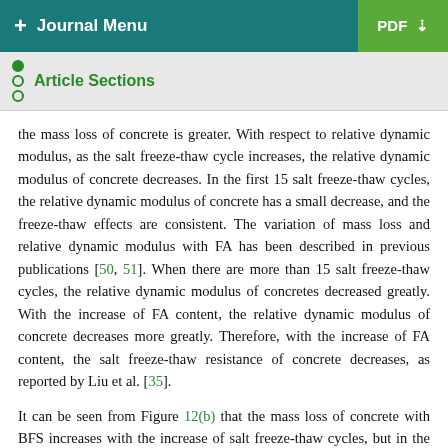+ Journal Menu | PDF
Article Sections
the mass loss of concrete is greater. With respect to relative dynamic modulus, as the salt freeze-thaw cycle increases, the relative dynamic modulus of concrete decreases. In the first 15 salt freeze-thaw cycles, the relative dynamic modulus of concrete has a small decrease, and the freeze-thaw effects are consistent. The variation of mass loss and relative dynamic modulus with FA has been described in previous publications [50, 51]. When there are more than 15 salt freeze-thaw cycles, the relative dynamic modulus of concretes decreased greatly. With the increase of FA content, the relative dynamic modulus of concrete decreases more greatly. Therefore, with the increase of FA content, the salt freeze-thaw resistance of concrete decreases, as reported by Liu et al. [35].
It can be seen from Figure 12(b) that the mass loss of concrete with BFS increases with the increase of salt freeze-thaw cycles, but in the first 5 salt freeze-thaw processes, the mass loss of concrete decreases with the increase of salt freeze-thaw cycles, and the principle is described above. In the process of the salt...